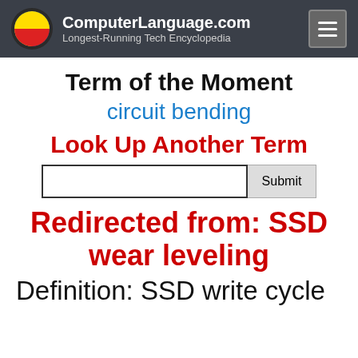ComputerLanguage.com — Longest-Running Tech Encyclopedia
Term of the Moment
circuit bending
Look Up Another Term
Redirected from: SSD wear leveling
Definition: SSD write cycle